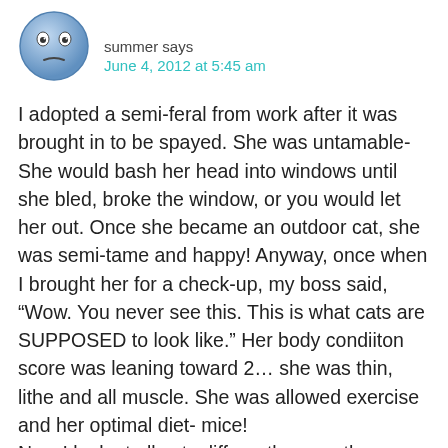[Figure (illustration): Blue cartoon smiley face avatar with a neutral/sad expression, round shape with a grey-blue gradient, used as a user profile picture]
summer says
June 4, 2012 at 5:45 am
I adopted a semi-feral from work after it was brought in to be spayed. She was untamable- She would bash her head into windows until she bled, broke the window, or you would let her out. Once she became an outdoor cat, she was semi-tame and happy! Anyway, once when I brought her for a check-up, my boss said, “Wow. You never see this. This is what cats are SUPPOSED to look like.” Her body condiiton score was leaning toward 2… she was thin, lithe and all muscle. She was allowed exercise and her optimal diet- mice!
Now I look at all cats differently, even the ones we think are “optimal weight” are still